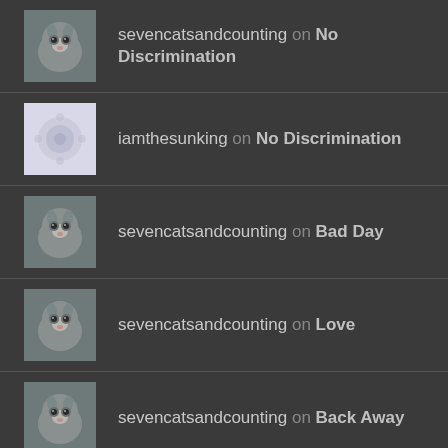sevencatsandcounting on No Discrimination
iamthesunking on No Discrimination
sevencatsandcounting on Bad Day
sevencatsandcounting on Love
sevencatsandcounting on Back Away
ARCHIVES